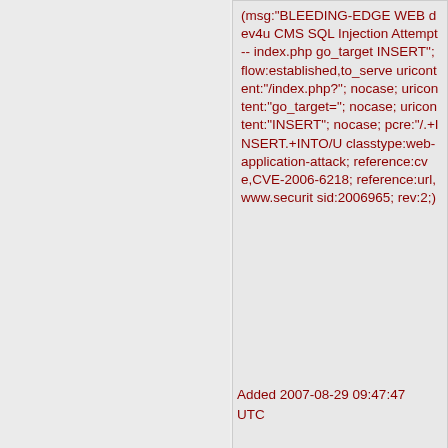(msg:"BLEEDING-EDGE WEB dev4u CMS SQL Injection Attempt -- index.php go_target INSERT"; flow:established,to_server; uricontent:"/index.php?"; nocase; uricontent:"go_target="; nocase; uricontent:"INSERT"; nocase; pcre:"/.+INSERT.+INTO/U classtype:web-application-attack; reference:cve,CVE-2006-6218; reference:url,www.security sid:2006965; rev:2;)
Added 2007-08-29 09:47:47 UTC